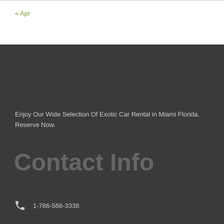« Apr
Enjoy Our Wide Selection Of Exotic Car Rental in Miami Florida. Reserve Now.
Contact Info
1-786-566-3338